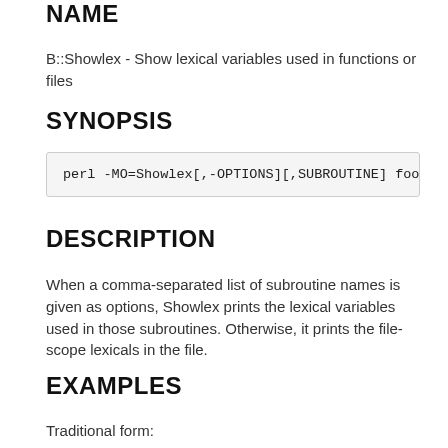NAME
B::Showlex - Show lexical variables used in functions or files
SYNOPSIS
perl -MO=Showlex[,-OPTIONS][,SUBROUTINE] foo
DESCRIPTION
When a comma-separated list of subroutine names is given as options, Showlex prints the lexical variables used in those subroutines. Otherwise, it prints the file-scope lexicals in the file.
EXAMPLES
Traditional form: